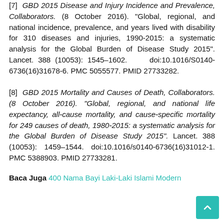[7] GBD 2015 Disease and Injury Incidence and Prevalence, Collaborators. (8 October 2016). "Global, regional, and national incidence, prevalence, and years lived with disability for 310 diseases and injuries, 1990-2015: a systematic analysis for the Global Burden of Disease Study 2015". Lancet. 388 (10053): 1545–1602.     doi:10.1016/S0140-6736(16)31678-6. PMC 5055577. PMID 27733282.
[8] GBD 2015 Mortality and Causes of Death, Collaborators. (8 October 2016). "Global, regional, and national life expectancy, all-cause mortality, and cause-specific mortality for 249 causes of death, 1980-2015: a systematic analysis for the Global Burden of Disease Study 2015". Lancet. 388 (10053): 1459–1544. doi:10.1016/s0140-6736(16)31012-1. PMC 5388903. PMID 27733281.
Baca Juga 400 Nama Bayi Laki-Laki Islami Modern